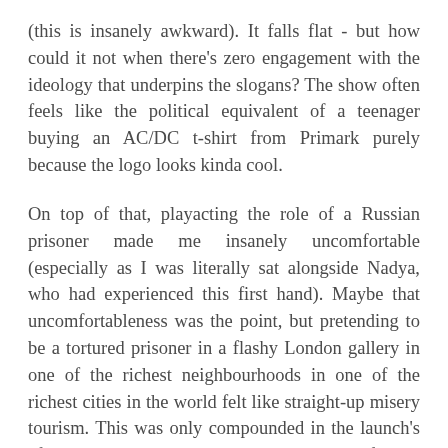(this is insanely awkward). It falls flat - but how could it not when there's zero engagement with the ideology that underpins the slogans? The show often feels like the political equivalent of a teenager buying an AC/DC t-shirt from Primark purely because the logo looks kinda cool.
On top of that, playacting the role of a Russian prisoner made me insanely uncomfortable (especially as I was literally sat alongside Nadya, who had experienced this first hand). Maybe that uncomfortableness was the point, but pretending to be a tortured prisoner in a flashy London gallery in one of the richest neighbourhoods in one of the richest cities in the world felt like straight-up misery tourism. This was only compounded in the launch's afterparty, where the shiny happy people of West London's art set quaffed free shots of vodka alongside trays of simulated labour camp food.
Knowing that Nadya Tolokonnikova co-wrote this makes